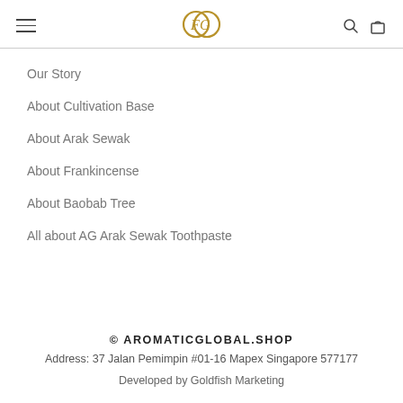[Figure (logo): Aromatic Global logo — two interlocked circular letters in gold/amber color, top center of page header]
Our Story
About Cultivation Base
About Arak Sewak
About Frankincense
About Baobab Tree
All about AG Arak Sewak Toothpaste
© AROMATICGLOBAL.SHOP
Address: 37 Jalan Pemimpin #01-16 Mapex Singapore 577177
Developed by Goldfish Marketing